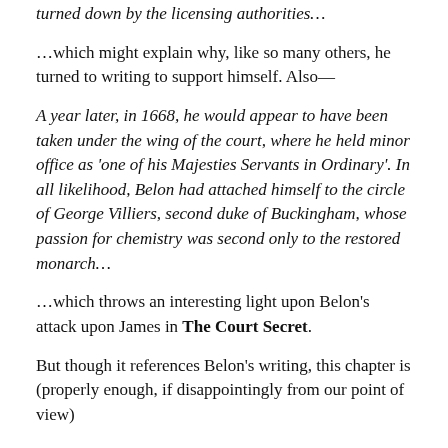turned down by the licensing authorities…
…which might explain why, like so many others, he turned to writing to support himself. Also—
A year later, in 1668, he would appear to have been taken under the wing of the court, where he held minor office as 'one of his Majesties Servants in Ordinary'. In all likelihood, Belon had attached himself to the circle of George Villiers, second duke of Buckingham, whose passion for chemistry was second only to the restored monarch…
…which throws an interesting light upon Belon's attack upon James in The Court Secret.
But though it references Belon's writing, this chapter is (properly enough, if disappointingly from our point of view)